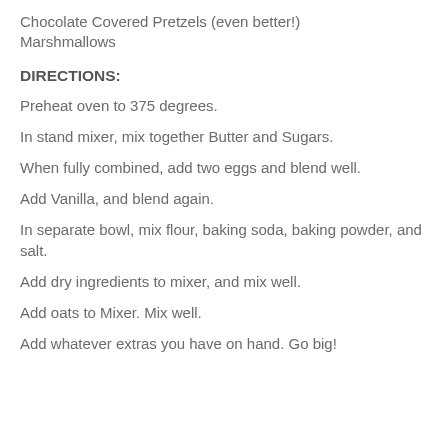Chocolate Covered Pretzels (even better!)
Marshmallows
DIRECTIONS:
Preheat oven to 375 degrees.
In stand mixer, mix together Butter and Sugars.
When fully combined, add two eggs and blend well.
Add Vanilla, and blend again.
In separate bowl, mix flour, baking soda, baking powder, and salt.
Add dry ingredients to mixer, and mix well.
Add oats to Mixer.  Mix well.
Add whatever extras you have on hand.  Go big!